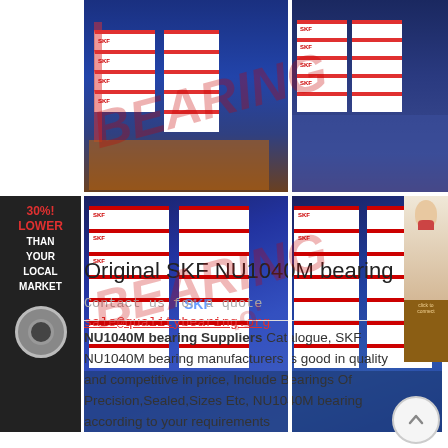[Figure (photo): Four warehouse shelf photos showing SKF bearing boxes stacked on industrial shelving units. Photos arranged in a 2x2 grid. Red and white SKF branded boxes visible on blue metal shelving. A watermark overlay reads 'BEARING' diagonally in red.]
[Figure (infographic): Left sidebar promotional banner on dark background reading '30%! LOWER THAN YOUR LOCAL MARKET' with a bearing icon at the bottom. Small customer service photo on right side.]
Original SKF NU1040M bearing
Contact us for a quote sale@qualitybearing.org
NU1040M bearing Suppliers Catalogue, SKF NU1040M bearing manufacturers is good in quality and competitive in price, Include Bearings Of Precision,Sealed,Sizes Etc, NU1040M bearing according to your requirements